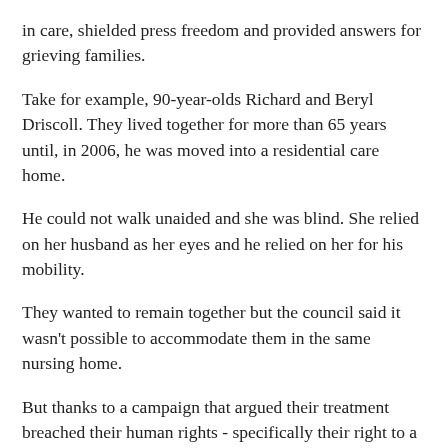in care, shielded press freedom and provided answers for grieving families.
Take for example, 90-year-olds Richard and Beryl Driscoll. They lived together for more than 65 years until, in 2006, he was moved into a residential care home.
He could not walk unaided and she was blind. She relied on her husband as her eyes and he relied on her for his mobility.
They wanted to remain together but the council said it wasn't possible to accommodate them in the same nursing home.
But thanks to a campaign that argued their treatment breached their human rights - specifically their right to a family life - the council were forced to back down and they were reunited.
It's difficult to believe that, without the protection